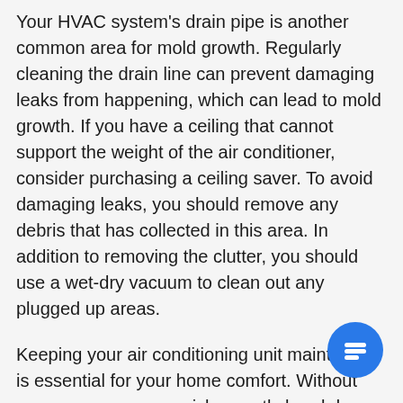Your HVAC system's drain pipe is another common area for mold growth. Regularly cleaning the drain line can prevent damaging leaks from happening, which can lead to mold growth. If you have a ceiling that cannot support the weight of the air conditioner, consider purchasing a ceiling saver. To avoid damaging leaks, you should remove any debris that has collected in this area. In addition to removing the clutter, you should use a wet-dry vacuum to clean out any plugged up areas.
Keeping your air conditioning unit maintained is essential for your home comfort. Without proper care, you can risk a costly breakdown. Ensure your unit is clean and functioning properly by cleaning it at least once a month. Remember to replace filters regularly during the cooling season. You can also clean them if they are washable. This simple